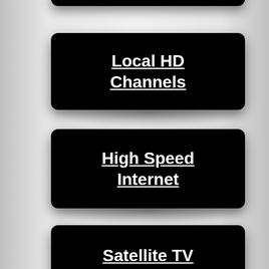Local HD Channels
High Speed Internet
Satellite TV Sevices